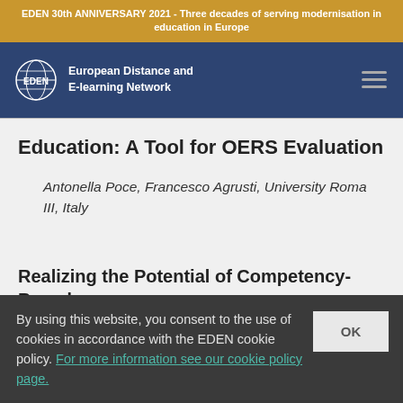EDEN 30th ANNIVERSARY 2021 - Three decades of serving modernisation in education in Europe
[Figure (logo): EDEN logo with globe icon and text 'European Distance and E-learning Network' on navy background]
Education: A Tool for OERS Evaluation
Antonella Poce, Francesco Agrusti, University Roma III, Italy
Realizing the Potential of Competency-Based
By using this website, you consent to the use of cookies in accordance with the EDEN cookie policy. For more information see our cookie policy page.